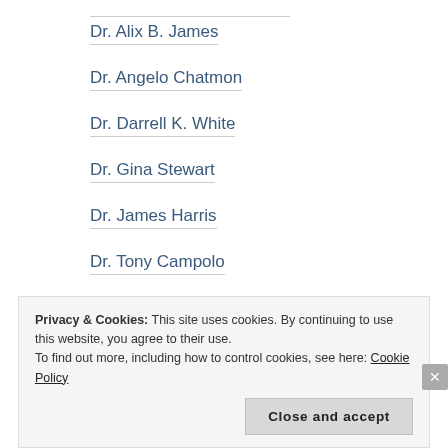Dr. Alix B. James
Dr. Angelo Chatmon
Dr. Darrell K. White
Dr. Gina Stewart
Dr. James Harris
Dr. Tony Campolo
Early African Christianity
early church fathers
Easter
Privacy & Cookies: This site uses cookies. By continuing to use this website, you agree to their use.
To find out more, including how to control cookies, see here: Cookie Policy
Close and accept